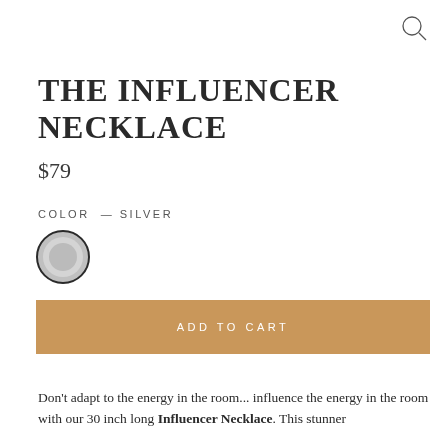[Figure (other): Search magnifying glass icon in top right corner]
THE INFLUENCER NECKLACE
$79
COLOR — Silver
[Figure (other): Silver color swatch circle with dark border]
ADD TO CART
Don't adapt to the energy in the room... influence the energy in the room with our 30 inch long Influencer Necklace. This stunner